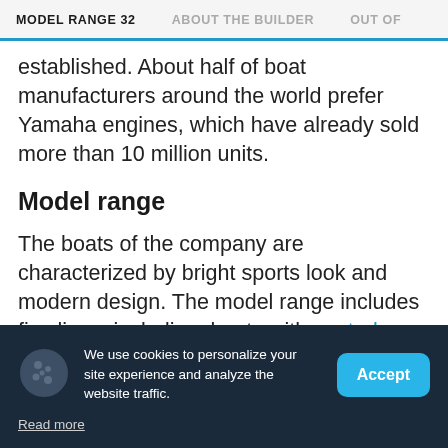MODEL RANGE 32   ABOUT THE BUILDER   OUT OF
established. About half of boat manufacturers around the world prefer Yamaha engines, which have already sold more than 10 million units.
Model range
The boats of the company are characterized by bright sports look and modern design. The model range includes five lines, including: boats with central console, well suited for both fishing and
We use cookies to personalize your site experience and analyze the website traffic.
Read more